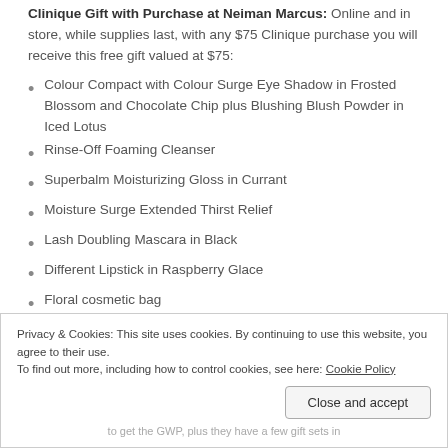Clinique Gift with Purchase at Neiman Marcus: Online and in store, while supplies last, with any $75 Clinique purchase you will receive this free gift valued at $75:
Colour Compact with Colour Surge Eye Shadow in Frosted Blossom and Chocolate Chip plus Blushing Blush Powder in Iced Lotus
Rinse-Off Foaming Cleanser
Superbalm Moisturizing Gloss in Currant
Moisture Surge Extended Thirst Relief
Lash Doubling Mascara in Black
Different Lipstick in Raspberry Glace
Floral cosmetic bag
Privacy & Cookies: This site uses cookies. By continuing to use this website, you agree to their use.
To find out more, including how to control cookies, see here: Cookie Policy
Close and accept
to get the GWP, plus they have a few gift sets in